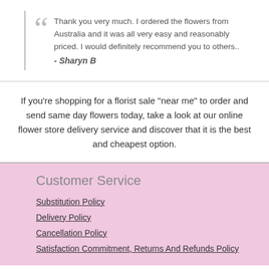Thank you very much. I ordered the flowers from Australia and it was all very easy and reasonably priced. I would definitely recommend you to others.. - Sharyn B
If you're shopping for a florist sale "near me" to order and send same day flowers today, take a look at our online flower store delivery service and discover that it is the best and cheapest option.
Customer Service
Substitution Policy
Delivery Policy
Cancellation Policy
Satisfaction Commitment, Returns And Refunds Policy